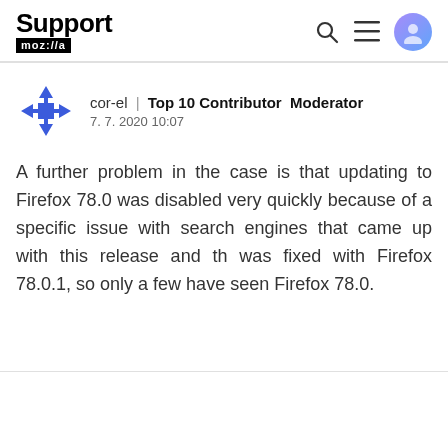Support mozilla//a
cor-el | Top 10 Contributor Moderator
7. 7. 2020 10:07
A further problem in the case is that updating to Firefox 78.0 was disabled very quickly because of a specific issue with search engines that came up with this release and th was fixed with Firefox 78.0.1, so only a few have seen Firefox 78.0.